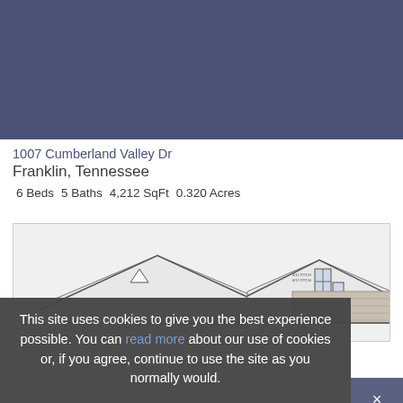[Figure (logo): Blueprint Realty logo — house outline with dots above 'blueprint' text and '—REALTY—' below]
1007 Cumberland Valley Dr
Franklin, Tennessee
6 Beds   5 Baths   4,212 SqFt   0.320 Acres
[Figure (engineering-diagram): Architectural elevation drawing of a house showing roof lines, a dormer window, and brick facade details]
This site uses cookies to give you the best experience possible. You can read more about our use of cookies or, if you agree, continue to use the site as you normally would.